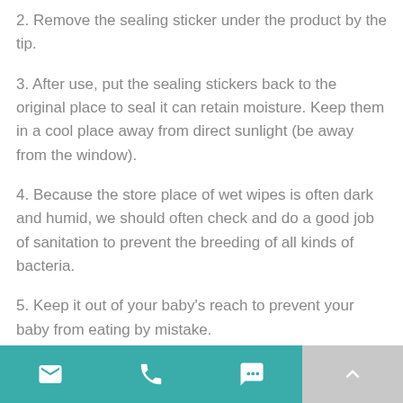2. Remove the sealing sticker under the product by the tip.
3. After use, put the sealing stickers back to the original place to seal it can retain moisture. Keep them in a cool place away from direct sunlight (be away from the window).
4. Because the store place of wet wipes is often dark and humid, we should often check and do a good job of sanitation to prevent the breeding of all kinds of bacteria.
5. Keep it out of your baby's reach to prevent your baby from eating by mistake.
email | phone | chat | up